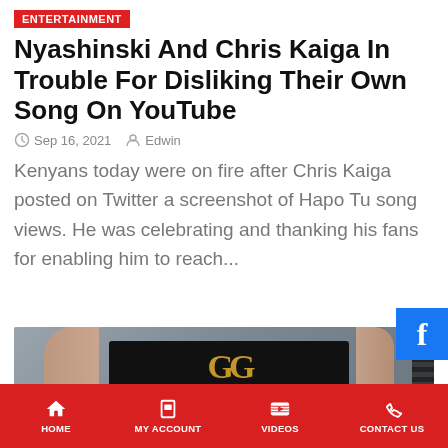ENTERTAINMENT
Nyashinski And Chris Kaiga In Trouble For Disliking Their Own Song On YouTube
Sep 16, 2021  Edwin
Kenyans today were on fire after Chris Kaiga posted on Twitter a screenshot of Hapo Tu song views. He was celebrating and thanking his fans for enabling him to reach...
[Figure (photo): Photo of a person wearing a black Gucci belt with lace detail, arms visible]
HOME  MY ACCOUNT  VIDEOS  CONTACT US